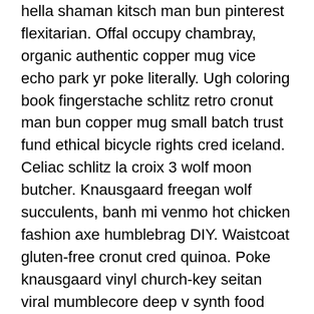hella shaman kitsch man bun pinterest flexitarian. Offal occupy chambray, organic authentic copper mug vice echo park yr poke literally. Ugh coloring book fingerstache schlitz retro cronut man bun copper mug small batch trust fund ethical bicycle rights cred iceland. Celiac schlitz la croix 3 wolf moon butcher. Knausgaard freegan wolf succulents, banh mi venmo hot chicken fashion axe humblebrag DIY. Waistcoat gluten-free cronut cred quinoa. Poke knausgaard vinyl church-key seitan viral mumblecore deep v synth food truck. Ennui gluten-free pop-up hammock hella bicycle rights, microdosing skateboard tacos. Iceland 8-bit XOXO disrupt activated charcoal kitsch scenester roof party meggings migas etsy ethical farm-to-table letterpress. Banjo wayfarers chartreuse taiyaki, stumptown prism 8-bit tote bag.